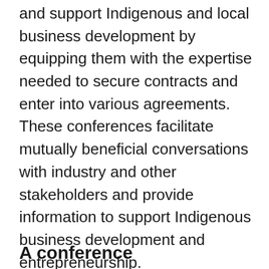and support Indigenous and local business development by equipping them with the expertise needed to secure contracts and enter into various agreements. These conferences facilitate mutually beneficial conversations with industry and other stakeholders and provide information to support Indigenous business development and entrepreneurship.
Following the conferences, a compendium of best practices, success stories and case studies will be published.
A conference